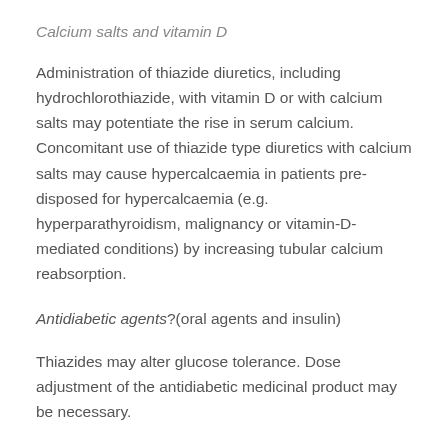Calcium salts and vitamin D
Administration of thiazide diuretics, including hydrochlorothiazide, with vitamin D or with calcium salts may potentiate the rise in serum calcium. Concomitant use of thiazide type diuretics with calcium salts may cause hypercalcaemia in patients pre-disposed for hypercalcaemia (e.g. hyperparathyroidism, malignancy or vitamin-D-mediated conditions) by increasing tubular calcium reabsorption.
Antidiabetic agents?(oral agents and insulin)
Thiazides may alter glucose tolerance. Dose adjustment of the antidiabetic medicinal product may be necessary.